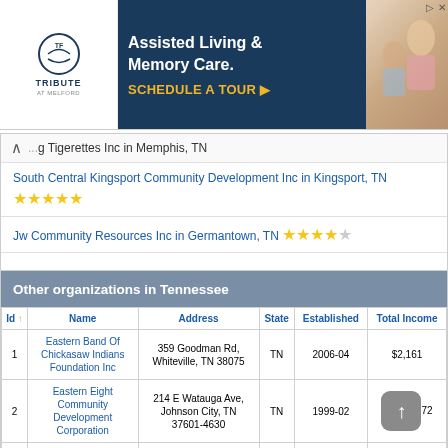[Figure (other): Advertisement banner for Tribute at Melford Assisted Living & Memory Care with Schedule a Tour CTA]
...g Tigerettes Inc in Memphis, TN
South Central Kingsport Community Development Inc in Kingsport, TN ★★★★★
Jw Community Resources Inc in Germantown, TN ★★★★☆
Other organizations in Tennessee
| Id ↑ | Name | Address | State | Established | Total Income |
| --- | --- | --- | --- | --- | --- |
| 1 | Eastern Band Of Chickasaw Indians Foundation Inc | 359 Goodman Rd, Whiteville, TN 38075 | TN | 2006-04 | $2,161 |
| 2 | Eastern Eight Community Development Corporation | 214 E Watauga Ave, Johnson City, TN 37601-4630 | TN | 1999-02 |  |
|  | Eastern Middle | 2588 N Mt Juliet Rd, |  |  |  |